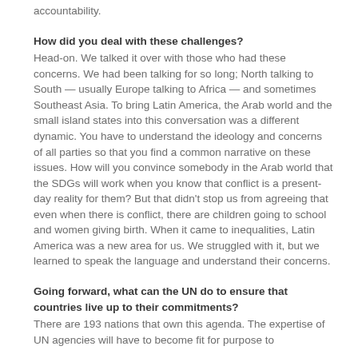accountability.
How did you deal with these challenges?
Head-on. We talked it over with those who had these concerns. We had been talking for so long; North talking to South — usually Europe talking to Africa — and sometimes Southeast Asia. To bring Latin America, the Arab world and the small island states into this conversation was a different dynamic. You have to understand the ideology and concerns of all parties so that you find a common narrative on these issues. How will you convince somebody in the Arab world that the SDGs will work when you know that conflict is a present-day reality for them? But that didn't stop us from agreeing that even when there is conflict, there are children going to school and women giving birth. When it came to inequalities, Latin America was a new area for us. We struggled with it, but we learned to speak the language and understand their concerns.
Going forward, what can the UN do to ensure that countries live up to their commitments?
There are 193 nations that own this agenda. The expertise of UN agencies will have to become fit for purpose to